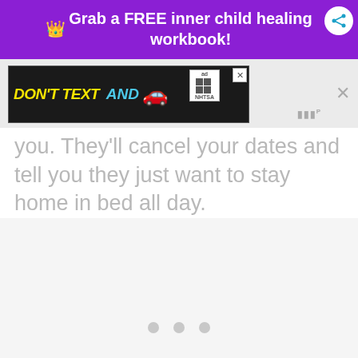[Figure (screenshot): Purple promotional banner with crown icon and share button reading 'Grab a FREE inner child healing workbook!']
[Figure (screenshot): NHTSA 'DON'T TEXT AND DRIVE' advertisement banner in black background with yellow and cyan text and red car emoji, with ad badge and close button]
you. They'll cancel your dates and tell you they just want to stay home in bed all day.